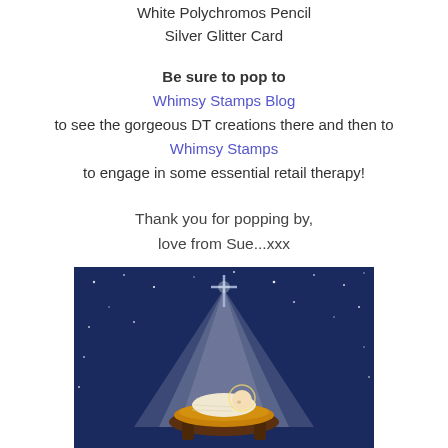White Polychromos Pencil
Silver Glitter Card
Be sure to pop to Whimsy Stamps Blog to see the gorgeous DT creations there and then to Whimsy Stamps to engage in some essential retail therapy!
Thank you for popping by,
love from Sue...xxx
[Figure (illustration): Illustration of baby Jesus in a manger with a glowing star cross above, set against a dark blue starry night sky background]